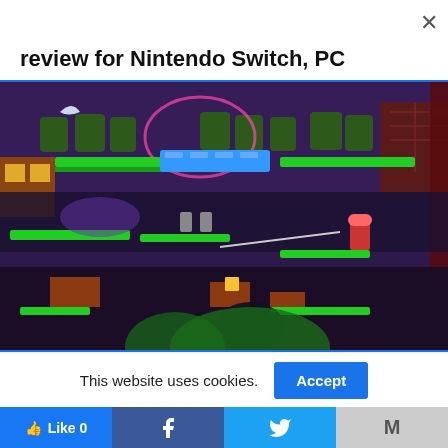review for Nintendo Switch, PC
[Figure (screenshot): Pixel art platformer game screenshot with purple/dark background showing green platforms, trees, a character with a whip, enemies, and brick walls. Night sky with crescent moon visible.]
This website uses cookies.
Accept
Like 0
[Figure (logo): Facebook logo icon (f)]
[Figure (logo): Twitter bird logo]
M